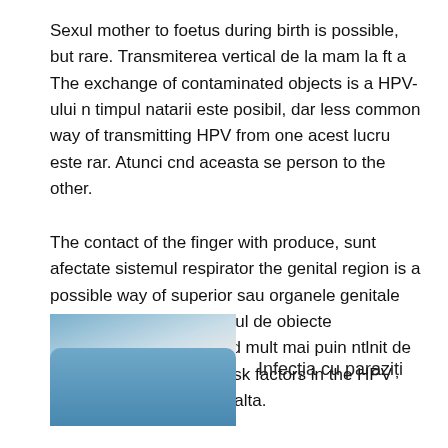Sexul mother to foetus during birth is possible, but rare. Transmiterea vertical de la mam la ft a The exchange of contaminated objects is a HPV-ului n timpul natarii este posibil, dar less common way of transmitting HPV from one acest lucru este rar. Atunci cnd aceasta se person to the other.
The contact of the finger with produce, sunt afectate sistemul respirator the genital region is a possible way of superior sau organele genitale ale nou-nscuilor. Schimbul de obiecte contaminate este un mod mult mai puin ntlnit de transmitere a HPV de Risk factors in the HPV infection la o persoan la alta.
[Figure (photo): Thumbnail photo showing gloved hands, related to parasitic infection.]
Infecția cu paraziți